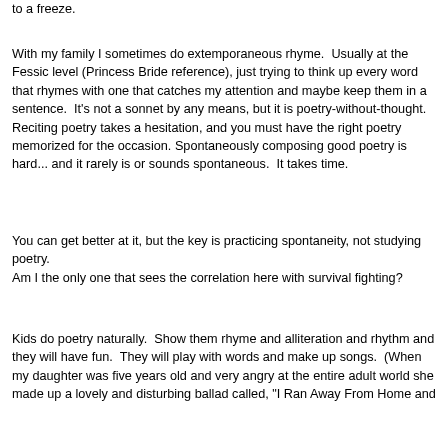to a freeze.
With my family I sometimes do extemporaneous rhyme.  Usually at the Fessic level (Princess Bride reference), just trying to think up every word that rhymes with one that catches my attention and maybe keep them in a sentence.  It's not a sonnet by any means, but it is poetry-without-thought.  Reciting poetry takes a hesitation, and you must have the right poetry memorized for the occasion.  Spontaneously composing good poetry is hard... and it rarely is or sounds spontaneous.  It takes time.
You can get better at it, but the key is practicing spontaneity, not studying poetry.
Am I the only one that sees the correlation here with survival fighting?
Kids do poetry naturally.  Show them rhyme and alliteration and rhythm and they will have fun.  They will play with words and make up songs.  (When my daughter was five years old and very angry at the entire adult world she made up a lovely and disturbing ballad called, "I Ran Away From Home and